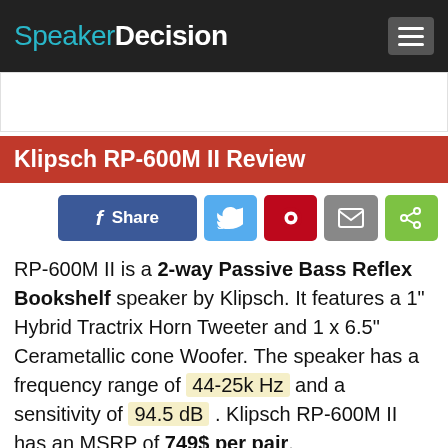SpeakerDecision
Klipsch RP-600M II Review
RP-600M II is a 2-way Passive Bass Reflex Bookshelf speaker by Klipsch. It features a 1" Hybrid Tractrix Horn Tweeter and 1 x 6.5" Cerametallic cone Woofer. The speaker has a frequency range of 44-25k Hz and a sensitivity of 94.5 dB . Klipsch RP-600M II has an MSRP of 749$ per pair.